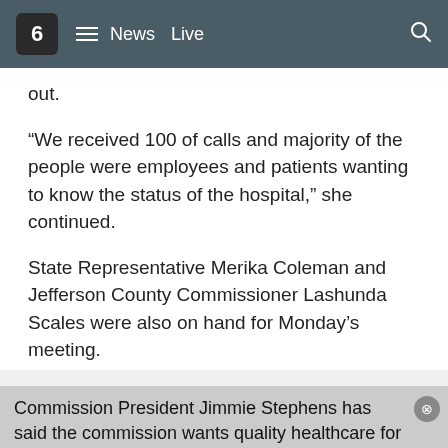6  News  Live
out.
“We received 100 of calls and majority of the people were employees and patients wanting to know the status of the hospital,” she continued.
State Representative Merika Coleman and Jefferson County Commissioner Lashunda Scales were also on hand for Monday’s meeting.
ADVERTISEMENT
Commission President Jimmie Stephens has said the commission wants quality healthcare for indigent patients